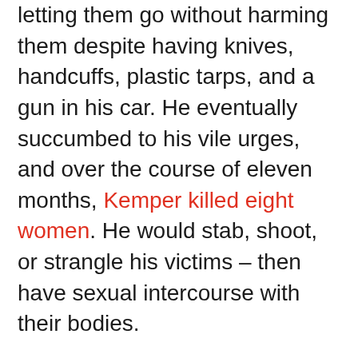then it began picking up female hitchhikers and letting them go without harming them despite having knives, handcuffs, plastic tarps, and a gun in his car. He eventually succumbed to his vile urges, and over the course of eleven months, Kemper killed eight women. He would stab, shoot, or strangle his victims – then have sexual intercourse with their bodies.

In 1973, Kemper killed his mother and dismembered her body. He subsequently strangled his mother's best friend Sally Hallett. After fleeing to Pueblo, Colorado, Kemper called a police officer he knew and confessed to the two murders. When he was taken into custody, he